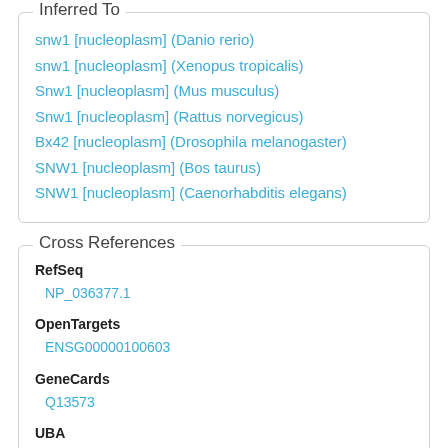Inferred To
snw1 [nucleoplasm] (Danio rerio)
snw1 [nucleoplasm] (Xenopus tropicalis)
Snw1 [nucleoplasm] (Mus musculus)
Snw1 [nucleoplasm] (Rattus norvegicus)
Bx42 [nucleoplasm] (Drosophila melanogaster)
SNW1 [nucleoplasm] (Bos taurus)
SNW1 [nucleoplasm] (Caenorhabditis elegans)
Cross References
RefSeq
NP_036377.1
OpenTargets
ENSG00000100603
GeneCards
Q13573
UBA